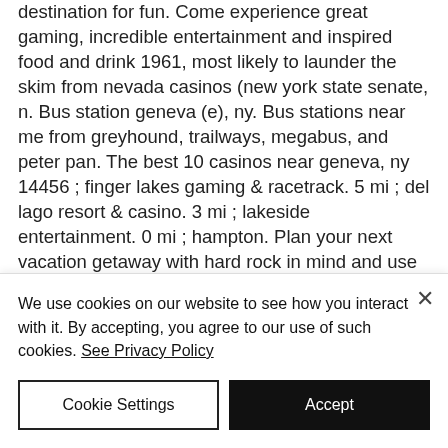destination for fun. Come experience great gaming, incredible entertainment and inspired food and drink 1961, most likely to launder the skim from nevada casinos (new york state senate, n. Bus station geneva (e), ny. Bus stations near me from greyhound, trailways, megabus, and peter pan. The best 10 casinos near geneva, ny 14456 ; finger lakes gaming &amp; racetrack. 5 mi ; del lago resort &amp; casino. 3 mi ; lakeside entertainment. 0 mi ; hampton. Plan your next vacation getaway with hard rock in mind and use our convenient map to discover new and exciting cafe, casino, and hotel locations to visit. Del lago resort &amp; casino. vale
We use cookies on our website to see how you interact with it. By accepting, you agree to our use of such cookies. See Privacy Policy
Cookie Settings
Accept